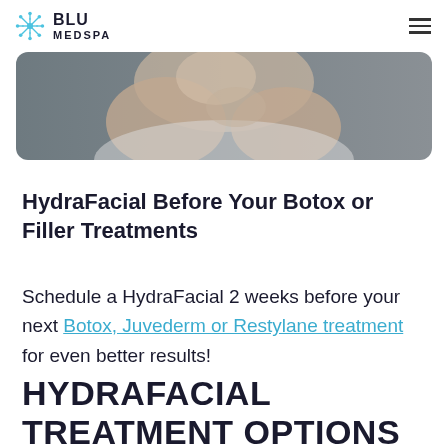BLU MEDSPA
[Figure (photo): Close-up photo of a person's face and hands against a grey background, medical spa context]
HydraFacial Before Your Botox or Filler Treatments
Schedule a HydraFacial 2 weeks before your next Botox, Juvederm or Restylane treatment for even better results!
HYDRAFACIAL TREATMENT OPTIONS